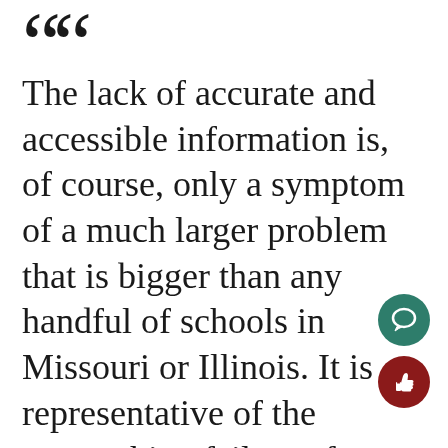“The lack of accurate and accessible information is, of course, only a symptom of a much larger problem that is bigger than any handful of schools in Missouri or Illinois. It is representative of the overarching failure of American society to grapple with what it has done, making silence the norm and violence